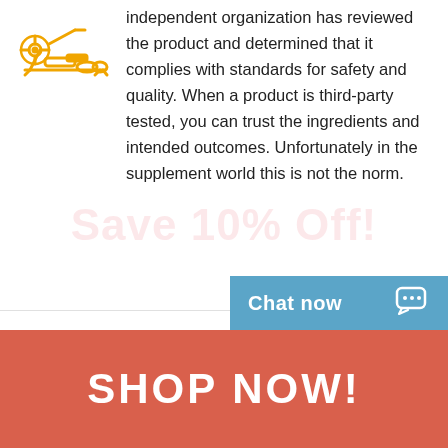[Figure (illustration): Yellow line-art illustration of a rowing machine / exercise equipment]
independent organization has reviewed the product and determined that it complies with standards for safety and quality. When a product is third-party tested, you can trust the ingredients and intended outcomes. Unfortunately in the supplement world this is not the norm.
[Figure (illustration): Blue line-art illustration of a pineapple, broccoli, and pills/capsules]
We want people to start looking more closely at nutrition and nutrient deficits. We offer resources, such as our website and Facebook community for people to learn more about the nutrition needs of the body and brain.
Chat now
SHOP NOW!